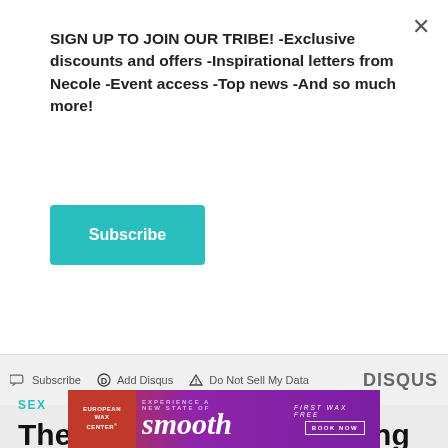SIGN UP TO JOIN OUR TRIBE! -Exclusive discounts and offers -Inspirational letters from Necole -Event access -Top news -And so much more!
Subscribe
Subscribe  Add Disqus  Do Not Sell My Data   DISQUS
SEX
The Pros & Cons Of Having Sex With Different Penis Sizes
[Figure (screenshot): European Wax Center advertisement banner with purple/red gradient showing 'smooth' italic text and 'FIRST WAX free BOOK NOW' on right side]